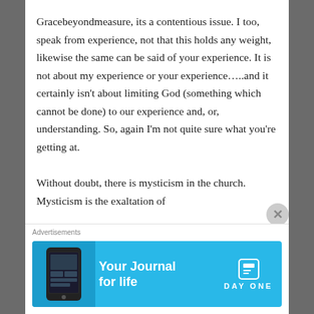Gracebeyondmeasure, its a contentious issue. I too, speak from experience, not that this holds any weight, likewise the same can be said of your experience. It is not about my experience or your experience…..and it certainly isn't about limiting God (something which cannot be done) to our experience and, or, understanding. So, again I'm not quite sure what you're getting at.

Without doubt, there is mysticism in the church. Mysticism is the exaltation of
Advertisements
[Figure (infographic): Advertisement banner for Day One journal app. Blue background with phone image on left, text 'Your Journal for life' in center, Day One logo on right.]